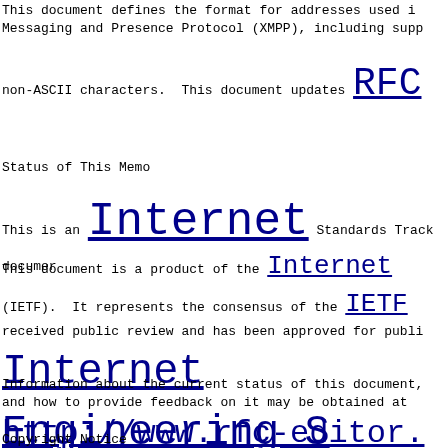This document defines the format for addresses used in Messaging and Presence Protocol (XMPP), including supp non-ASCII characters.  This document updates RFC
Status of This Memo
This is an Internet Standards Track documen
This document is a product of the Internet (IETF).  It represents the consensus of the IETF received public review and has been approved for publi Internet Engineering S Internet Standards is available in Sec
Information about the current status of this document, and how to provide feedback on it may be obtained at http://www.rfc-editor.
Copyright Notice